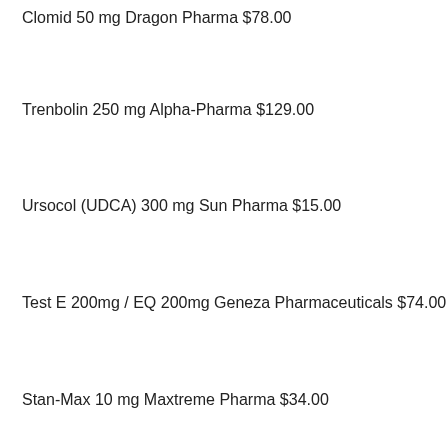Clomid 50 mg Dragon Pharma $78.00
Trenbolin 250 mg Alpha-Pharma $129.00
Ursocol (UDCA) 300 mg Sun Pharma $15.00
Test E 200mg / EQ 200mg Geneza Pharmaceuticals $74.00
Stan-Max 10 mg Maxtreme Pharma $34.00